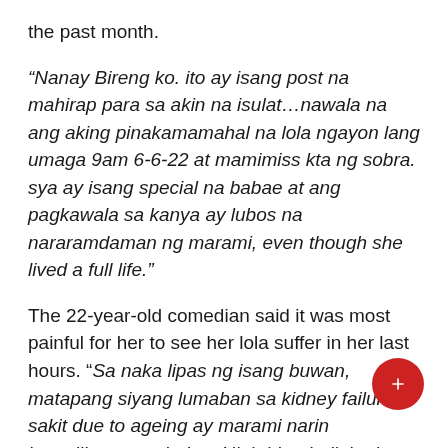the past month.
“Nanay Bireng ko. ito ay isang post na mahirap para sa akin na isulat…nawala na ang aking pinakamamahal na lola ngayon lang umaga 9am 6-6-22 at mamimiss kta ng sobra. sya ay isang special na babae at ang pagkawala sa kanya ay lubos na nararamdaman ng marami, even though she lived a full life.”
The 22-year-old comedian said it was most painful for her to see her lola suffer in her last hours. “Sa naka lipas ng isang buwan, matapang siyang lumaban sa kidney failure at sakit due to ageing ay marami narin komplikasyon tulad ng High blood, diabetic at pneumonia at ang pinaka masakit ang makita siyang nag durusa sa mga